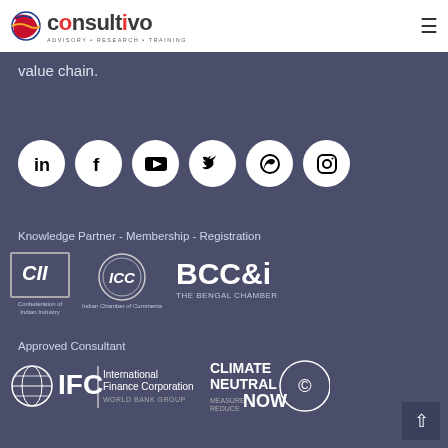consultivo ADVISORY • RESEARCH • TRAINING
value chain.
[Figure (infographic): Six social media icons in white circles on dark background: LinkedIn, Facebook, YouTube, Twitter, WhatsApp, Instagram]
Knowledge Partner - Membership - Registration
[Figure (logo): CII - Confederation of Indian Industry logo]
[Figure (logo): ICC - Indian Chamber of Commerce logo]
[Figure (logo): BCC&i - The Bengal Chamber logo]
Approved Consultant
[Figure (logo): IFC - International Finance Corporation, World Bank Group logo]
[Figure (logo): Climate Neutral Now logo]